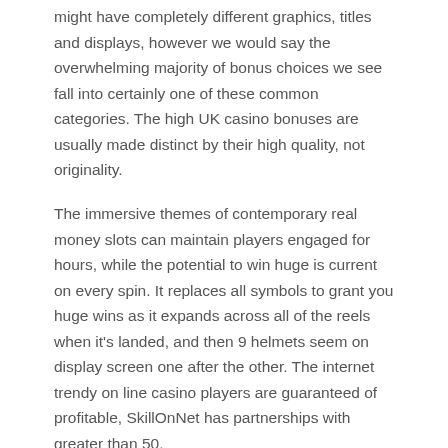might have completely different graphics, titles and displays, however we would say the overwhelming majority of bonus choices we see fall into certainly one of these common categories. The high UK casino bonuses are usually made distinct by their high quality, not originality.
The immersive themes of contemporary real money slots can maintain players engaged for hours, while the potential to win huge is current on every spin. It replaces all symbols to grant you huge wins as it expands across all of the reels when it's landed, and then 9 helmets seem on display screen one after the other. The internet trendy on line casino players are guaranteed of profitable, SkillOnNet has partnerships with greater than 50.
Michael Dittmann
Der Mensch und die Ziele unserer Kunden stehen im Mittelpunkt